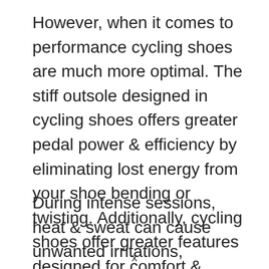However, when it comes to performance cycling shoes are much more optimal. The stiff outsole designed in cycling shoes offers greater pedal power & efficiency by eliminating lost energy from your shoe bending or twisting. Additionally, cycling shoes offer greater features designed for comfort & breathability.
During intense sessions, heat & sweat can cause unwanted irritations, including blisters. Most cycling shoes in the market
x